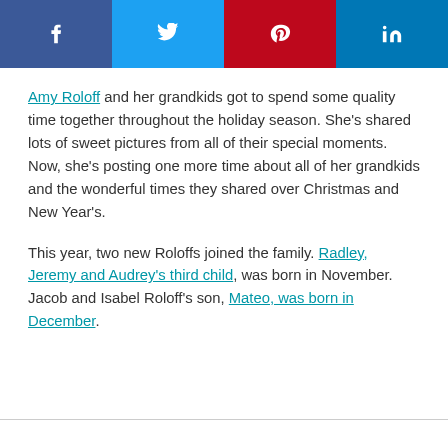[Figure (infographic): Social media sharing buttons bar: Facebook (dark blue), Twitter (light blue), Pinterest (red), LinkedIn (dark blue)]
Amy Roloff and her grandkids got to spend some quality time together throughout the holiday season. She's shared lots of sweet pictures from all of their special moments. Now, she's posting one more time about all of her grandkids and the wonderful times they shared over Christmas and New Year's.
This year, two new Roloffs joined the family. Radley, Jeremy and Audrey's third child, was born in November. Jacob and Isabel Roloff's son, Mateo, was born in December.